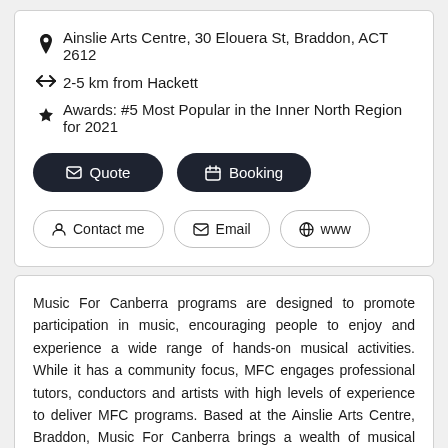Ainslie Arts Centre, 30 Elouera St, Braddon, ACT 2612
2-5 km from Hackett
Awards: #5 Most Popular in the Inner North Region for 2021
Quote
Booking
Contact me
Email
www
Music For Canberra programs are designed to promote participation in music, encouraging people to enjoy and experience a wide range of hands-on musical activities. While it has a community focus, MFC engages professional tutors, conductors and artists with high levels of experience to deliver MFC programs. Based at the Ainslie Arts Centre, Braddon, Music For Canberra brings a wealth of musical experience and has become an integral part of the cultural life of the ACT. Music For Canberra is...  Read more